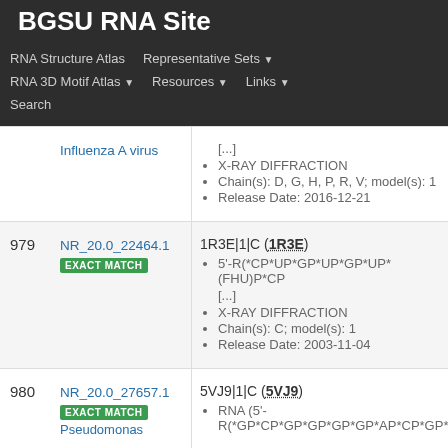BGSU RNA Site
RNA Structure Atlas | Representative Sets ▼ | RNA 3D Motif Atlas ▼ | Resources ▼ | Links ▼ | Search
| # | ID | Details |
| --- | --- | --- |
|  | Influenza A virus | [...] • X-RAY DIFFRACTION • Chain(s): D, G, H, P, R, V; model(s): 1 • Release Date: 2016-12-21 |
| 979 | NR_20.0_22464.1 EXACT MATCH | 1R3E|1|C (1R3E) • 5'-R(*CP*UP*GP*UP*GP*UP*(FHU)P*C... [...] • X-RAY DIFFRACTION • Chain(s): C; model(s): 1 • Release Date: 2003-11-04 |
| 980 | NR_20.0_27657.1 EXACT MATCH Pseudomonas | 5VJ9|1|C (5VJ9) • RNA (5'- R(*GP*CP*GP*GP*GP*GP*AP*CP*GP*A... |